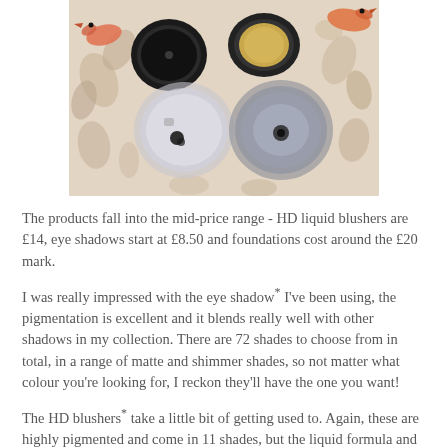[Figure (photo): Overhead photo of makeup products including eye shadow compacts (black and gold), open clear pots with loose pigment, on a floral patterned fabric background with bird and flower motifs in brown/orange tones.]
The products fall into the mid-price range - HD liquid blushers are £14, eye shadows start at £8.50 and foundations cost around the £20 mark.
I was really impressed with the eye shadow* I've been using, the pigmentation is excellent and it blends really well with other shadows in my collection. There are 72 shades to choose from in total, in a range of matte and shimmer shades, so not matter what colour you're looking for, I reckon they'll have the one you want!
The HD blushers* take a little bit of getting used to. Again, these are highly pigmented and come in 11 shades, but the liquid formula and pump bottle means that it's quite hard to dispense the right amount to use. You only need a tiny amount